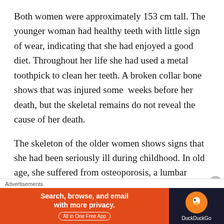Both women were approximately 153 cm tall. The younger woman had healthy teeth with little sign of wear, indicating that she had enjoyed a good diet. Throughout her life she had used a metal toothpick to clean her teeth. A broken collar bone shows that was injured some weeks before her death, but the skeletal remains do not reveal the cause of her death.
The skeleton of the older women shows signs that she had been seriously ill during childhood. In old age, she suffered from osteoporosis, a lumbar fracture, two fused neck vertebrae and a knee injury, which most likely had made her stoop and
Advertisements
[Figure (other): DuckDuckGo advertisement banner: orange background with text 'Search, browse, and email with more privacy. All in One Free App' and DuckDuckGo logo on dark background]